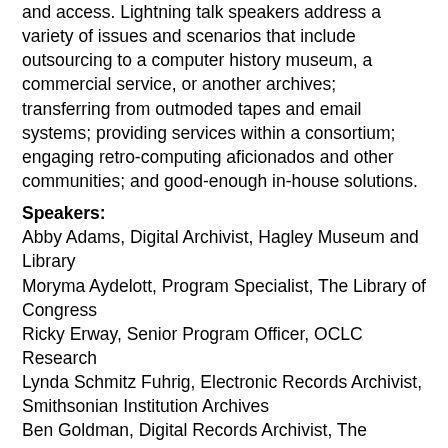and access. Lightning talk speakers address a variety of issues and scenarios that include outsourcing to a computer history museum, a commercial service, or another archives; transferring from outmoded tapes and email systems; providing services within a consortium; engaging retro-computing aficionados and other communities; and good-enough in-house solutions.
Speakers:
Abby Adams, Digital Archivist, Hagley Museum and Library
Moryma Aydelott, Program Specialist, The Library of Congress
Ricky Erway, Senior Program Officer, OCLC Research
Lynda Schmitz Fuhrig, Electronic Records Archivist, Smithsonian Institution Archives
Ben Goldman, Digital Records Archivist, The Pennsylvania State University
Ted Hull, Archivist, National Archives at College Park
Matthew McKinley, Digital Project Specialist, University of